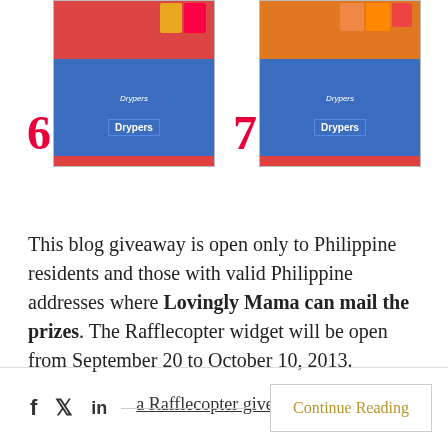[Figure (photo): Two product images of Drypers baby wipes packages labeled 6 and 7, shown against a red/maroon background with colorful boxes behind them.]
This blog giveaway is open only to Philippine residents and those with valid Philippine addresses where Lovingly Mama can mail the prizes. The Rafflecopter widget will be open from September 20 to October 10, 2013.
a Rafflecopter giveaway
f  Twitter  in  [divider]  Continue Reading